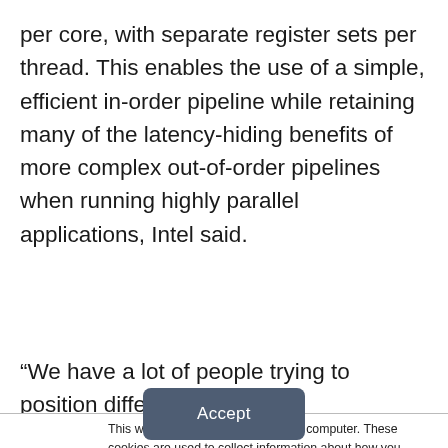per core, with separate register sets per thread. This enables the use of a simple, efficient in-order pipeline while retaining many of the latency-hiding benefits of more complex out-of-order pipelines when running highly parallel applications, Intel said.
“We have a lot of people trying to position different processing
This website stores cookies on your computer. These cookies are used to collect information about how you interact with our website and allow us to remember you. We use this information in order to improve and customize your browsing experience and for analytics and metrics about our visitors both on this website and other media. To find out more about the cookies we use, see our Privacy Policy. California residents have the right to direct us not to sell their personal information to third parties by filing an Opt-Out Request: Do Not Sell My Personal Info.
Accept